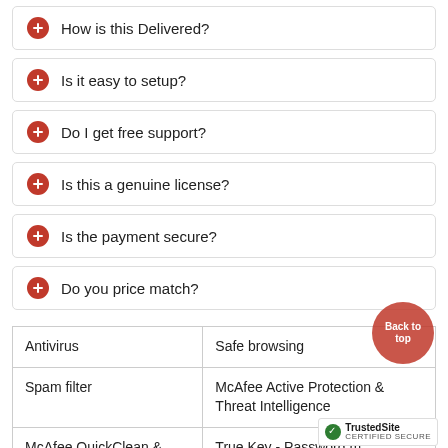How is this Delivered?
Is it easy to setup?
Do I get free support?
Is this a genuine license?
Is the payment secure?
Do you price match?
| Antivirus | Safe browsing |
| Spam filter | McAfee Active Protection & Threat Intelligence |
| McAfee QuickClean & Shredder | True Key - Password m... |